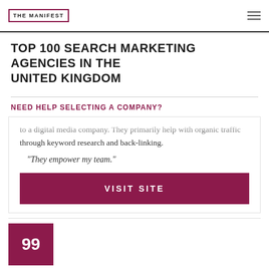THE MANIFEST
TOP 100 SEARCH MARKETING AGENCIES IN THE UNITED KINGDOM
NEED HELP SELECTING A COMPANY?
to a digital media company. They primarily help with organic traffic through keyword research and back-linking.
"They empower my team."
VISIT SITE
99